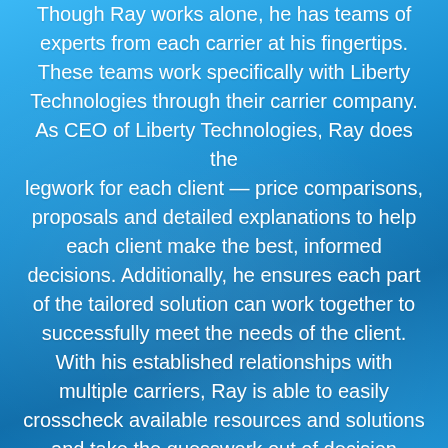Though Ray works alone, he has teams of experts from each carrier at his fingertips. These teams work specifically with Liberty Technologies through their carrier company. As CEO of Liberty Technologies, Ray does the legwork for each client — price comparisons, proposals and detailed explanations to help each client make the best, informed decisions. Additionally, he ensures each part of the tailored solution can work together to successfully meet the needs of the client. With his established relationships with multiple carriers, Ray is able to easily crosscheck available resources and solutions and take the guesswork out of decision making for each client. At Liberty Technologies, customer service is